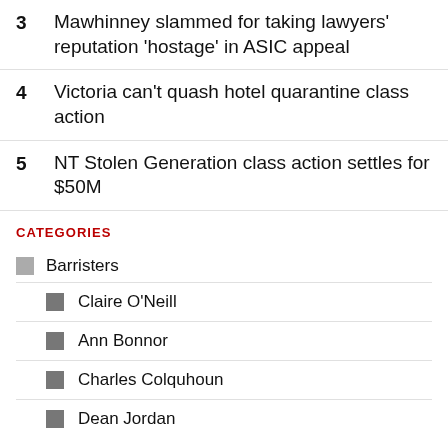3  Mawhinney slammed for taking lawyers' reputation 'hostage' in ASIC appeal
4  Victoria can't quash hotel quarantine class action
5  NT Stolen Generation class action settles for $50M
CATEGORIES
Barristers
Claire O'Neill
Ann Bonnor
Charles Colquhoun
Dean Jordan